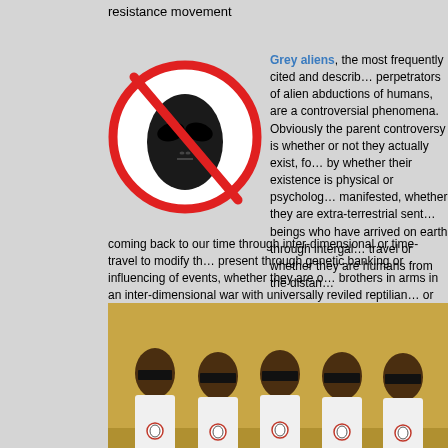resistance movement
[Figure (illustration): No-alien symbol: red circle with diagonal line over a grey alien face silhouette]
Grey aliens, the most frequently cited and described perpetrators of alien abductions of humans, are a controversial phenomena. Obviously the parent controversy is whether or not they actually exist, followed by whether their existence is physical or psychologically manifested, whether they are extra-terrestrial sentient beings who have arrived on earth through intergalactic travel or whether they are humans from the distant future coming back to our time through inter-dimensional or time-travel to modify the present through genetic banking or influencing of events, whether they are our brothers in arms in an inter-dimensional war with universally reviled reptilians, or merely our allies in an enemy-of-my-enemy scenario, whether they are in league with black-ops factions of the shadow government, and lastly whether they are ultimately benevolent and acting in the interest of current-era humans, despite actions seemingly to the contrary, or whether they are deceitful and acting in their own self-interest at the expense of current-era humans.
[Figure (photo): Five people sitting in a row against a yellow wall, wearing white shirts with a badge/logo on them, their eyes obscured by black bars for anonymity]